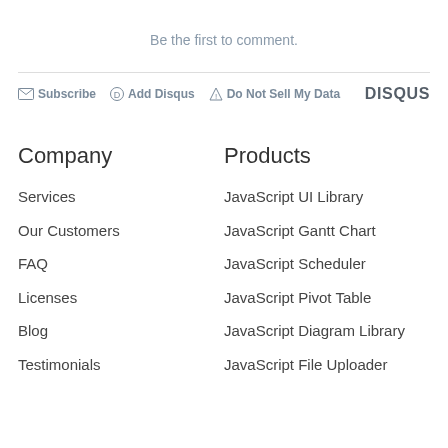Be the first to comment.
Subscribe  Add Disqus  Do Not Sell My Data   DISQUS
Company
Products
Services
JavaScript UI Library
Our Customers
JavaScript Gantt Chart
FAQ
JavaScript Scheduler
Licenses
JavaScript Pivot Table
Blog
JavaScript Diagram Library
Testimonials
JavaScript File Uploader